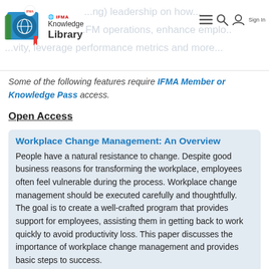IFMA Knowledge Library — header with navigation icons and Sign In
Some of the following features require IFMA Member or Knowledge Pass access.
Open Access
Workplace Change Management: An Overview
People have a natural resistance to change. Despite good business reasons for transforming the workplace, employees often feel vulnerable during the process. Workplace change management should be executed carefully and thoughtfully. The goal is to create a well-crafted program that provides support for employees, assisting them in getting back to work quickly to avoid productivity loss. This paper discusses the importance of workplace change management and provides basic steps to success.